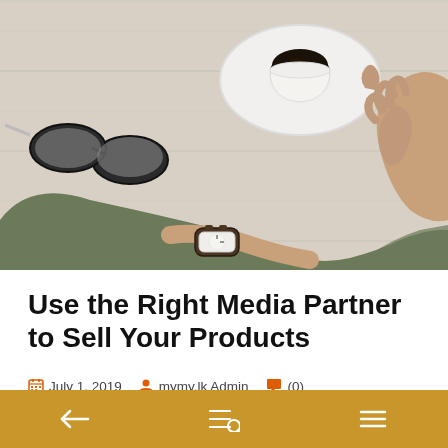[Figure (photo): Overhead view of a person wearing a watch and green long-sleeve shirt, holding a coffee cup on a saucer on a white wooden table, with sunglasses nearby.]
Use the Right Media Partner to Sell Your Products
July 1, 2019  mymy.lk Admin  (0)
← ≡Q ≡